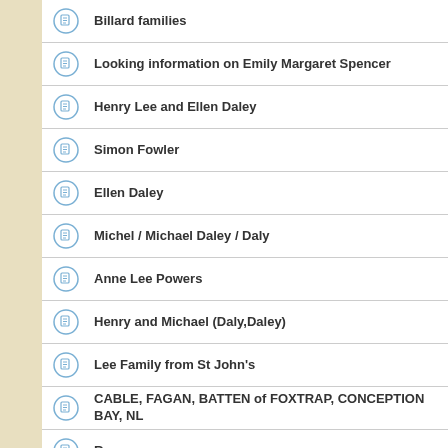Billard families
Looking information on Emily Margaret Spencer
Henry Lee and Ellen Daley
Simon Fowler
Ellen Daley
Michel / Michael Daley / Daly
Anne Lee Powers
Henry and Michael (Daly,Daley)
Lee Family from St John's
CABLE, FAGAN, BATTEN of FOXTRAP, CONCEPTION BAY, NL
Rees
Snow Family of North River & Clarkes Beach